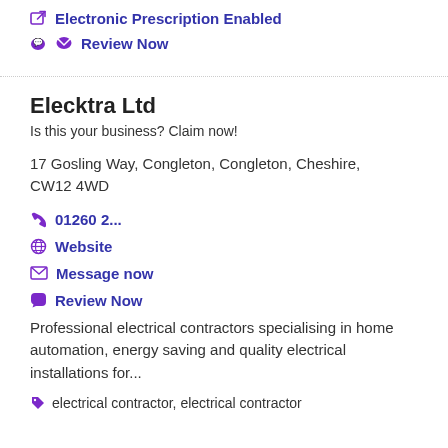Electronic Prescription Enabled
Review Now
Elecktra Ltd
Is this your business? Claim now!
17 Gosling Way, Congleton, Congleton, Cheshire, CW12 4WD
01260 2...
Website
Message now
Review Now
Professional electrical contractors specialising in home automation, energy saving and quality electrical installations for...
electrical contractor, electrical contractor